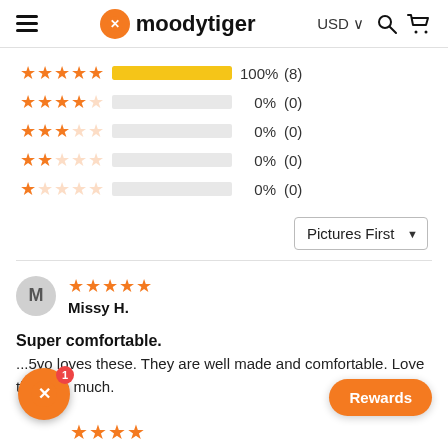moodytiger USD
[Figure (bar-chart): Star rating distribution]
Pictures First (sort dropdown)
Missy H. — 5 stars
Super comfortable.
...5yo loves these. They are well made and comfortable. Love them so much.